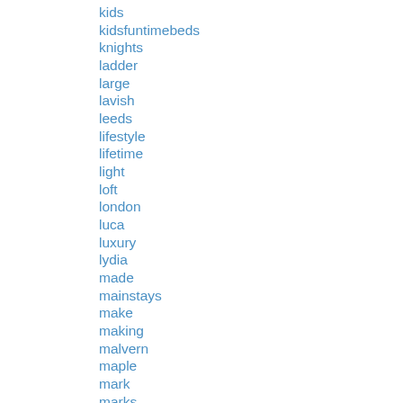kids
kidsfuntimebeds
knights
ladder
large
lavish
leeds
lifestyle
lifetime
light
loft
london
luca
luxury
lydia
made
mainstays
make
making
malvern
maple
mark
marks